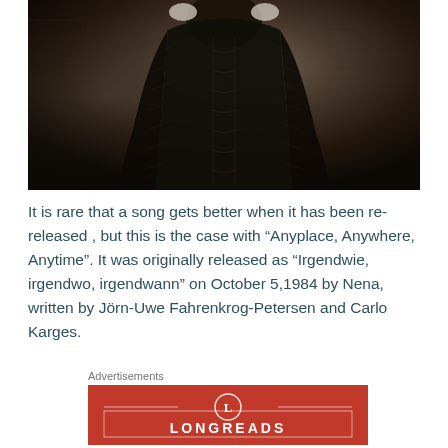[Figure (photo): Dark artistic photo of a figure in black gothic/theatrical costume with white gloves against a stone wall background]
It is rare that a song gets better when it has been re-released , but this is the case with “Anyplace, Anywhere, Anytime”. It was originally released as “Irgendwie, irgendwo, irgendwann” on October 5,1984 by Nena, written by Jörn-Uwe Fahrenkrog-Petersen and Carlo Karges.
Advertisements
[Figure (logo): Longreads advertisement banner with red background, circular L logo and LONGREADS text in white with decorative border box]